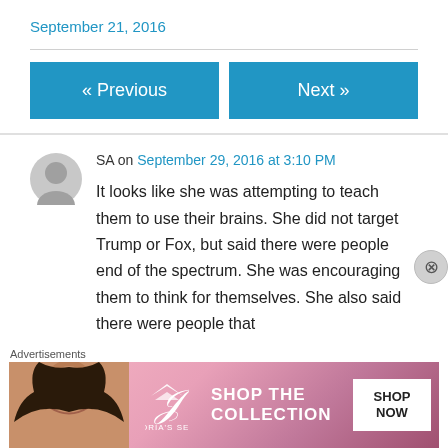September 21, 2016
« Previous
Next »
SA on September 29, 2016 at 3:10 PM
It looks like she was attempting to teach them to use their brains. She did not target Trump or Fox, but said there were people end of the spectrum. She was encouraging them to think for themselves. She also said there were people that...
Advertisements
[Figure (photo): Victoria's Secret advertisement banner showing a model, VS logo, 'SHOP THE COLLECTION' text and 'SHOP NOW' button]